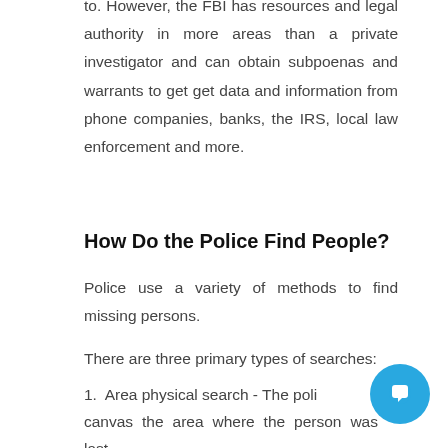to. However, the FBI has resources and legal authority in more areas than a private investigator and can obtain subpoenas and warrants to get get data and information from phone companies, banks, the IRS, local law enforcement and more.
How Do the Police Find People?
Police use a variety of methods to find missing persons.
There are three primary types of searches:
1.  Area physical search - The poli… canvas the area where the person was last